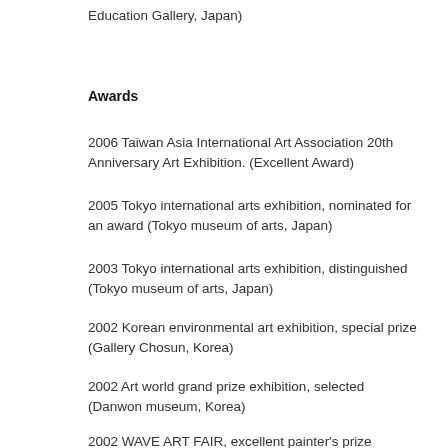Education Gallery, Japan)
Awards
2006 Taiwan Asia International Art Association 20th Anniversary Art Exhibition. (Excellent Award)
2005 Tokyo international arts exhibition, nominated for an award (Tokyo museum of arts, Japan)
2003 Tokyo international arts exhibition, distinguished (Tokyo museum of arts, Japan)
2002 Korean environmental art exhibition, special prize (Gallery Chosun, Korea)
2002 Art world grand prize exhibition, selected (Danwon museum, Korea)
2002 WAVE ART FAIR, excellent painter's prize